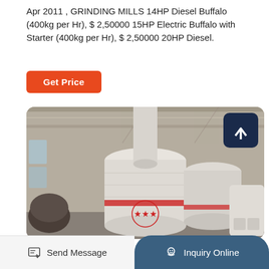Apr 2011 , GRINDING MILLS 14HP Diesel Buffalo (400kg per Hr), $ 2,50000 15HP Electric Buffalo with Starter (400kg per Hr), $ 2,50000 20HP Diesel.
[Figure (other): Orange 'Get Price' button]
[Figure (photo): Industrial grinding mill machinery wrapped in white protective material inside a warehouse facility]
Send Message
Inquiry Online